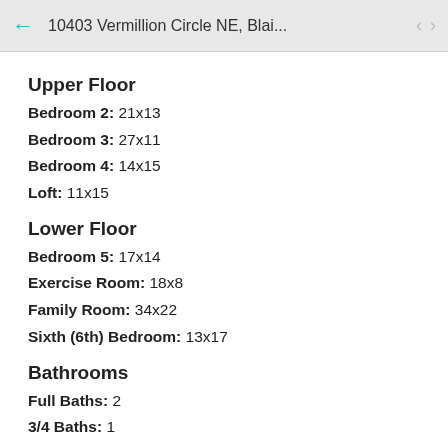10403 Vermillion Circle NE, Blai...
Upper Floor
Bedroom 2: 21x13
Bedroom 3: 27x11
Bedroom 4: 14x15
Loft: 11x15
Lower Floor
Bedroom 5: 17x14
Exercise Room: 18x8
Family Room: 34x22
Sixth (6th) Bedroom: 13x17
Bathrooms
Full Baths: 2
3/4 Baths: 1
1/2 Baths: 1